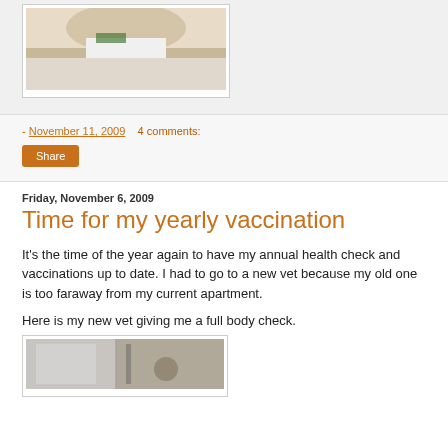[Figure (photo): Photo of a person or animal in white clothing, top portion visible]
- November 11, 2009   4 comments:
Share
Friday, November 6, 2009
Time for my yearly vaccination
It's the time of the year again to have my annual health check and vaccinations up to date. I had to go to a new vet because my old one is too faraway from my current apartment.
Here is my new vet giving me a full body check.
[Figure (photo): Photo of a vet examining an animal in a clinic setting]